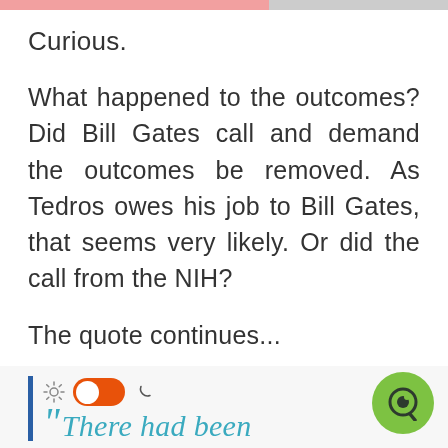Curious.
What happened to the outcomes? Did Bill Gates call and demand the outcomes be removed. As Tedros owes his job to Bill Gates, that seems very likely. Or did the call from the NIH?
The quote continues...
[Figure (screenshot): Bottom UI bar with blue vertical line, sun icon, orange toggle switch in on position, moon icon, and italic teal text starting with large quotation marks reading 'There had been'. A green circular chat bubble icon appears in the bottom right corner.]